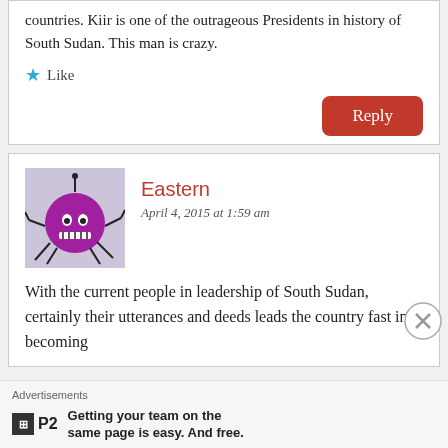countries. Kiir is one of the outrageous Presidents in history of South Sudan. This man is crazy.
★ Like
Reply
Eastern
April 4, 2015 at 1:59 am
[Figure (illustration): Purple cartoon monster avatar with spiky legs and simple face on a light purple/grey background]
With the current people in leadership of South Sudan, certainly their utterances and deeds leads the country fast into becoming
Advertisements
Getting your team on the same page is easy. And free.